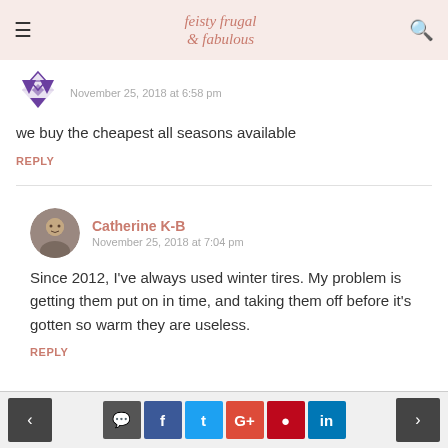feisty frugal & fabulous
November 25, 2018 at 6:58 pm
we buy the cheapest all seasons available
REPLY
Catherine K-B
November 25, 2018 at 7:04 pm
Since 2012, I've always used winter tires. My problem is getting them put on in time, and taking them off before it's gotten so warm they are useless.
REPLY
< [comment] f t G+ p in >